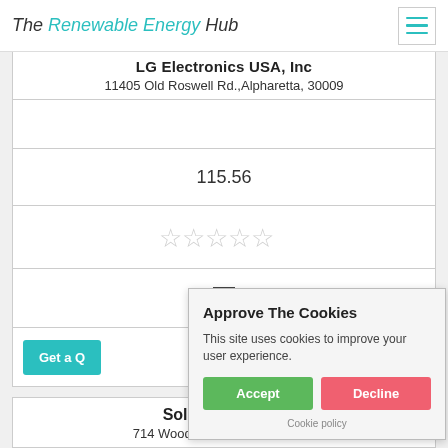The Renewable Energy Hub
LG Electronics USA, Inc
11405 Old Roswell Rd.,Alpharetta, 30009
115.56
[Figure (other): Five empty star rating icons in light gray]
[Figure (other): Empty checkbox square]
Get a Quote
Approve The Cookies
This site uses cookies to improve your user experience.
Accept  Decline
Cookie policy
Solar Concierge
714 Woodson St Atlanta, 30315